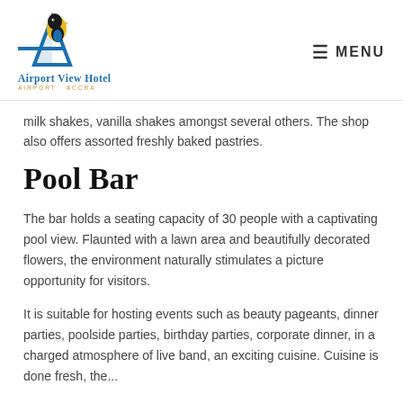[Figure (logo): Airport View Hotel logo with a toucan bird and blue letter A, with hotel name and 'Airport Accra' subtitle]
milk shakes, vanilla shakes amongst several others. The shop also offers assorted freshly baked pastries.
Pool Bar
The bar holds a seating capacity of 30 people with a captivating pool view. Flaunted with a lawn area and beautifully decorated flowers, the environment naturally stimulates a picture opportunity for visitors.
It is suitable for hosting events such as beauty pageants, dinner parties, poolside parties, birthday parties, corporate dinner, in a charged atmosphere of live band, an exciting cuisine. Cuisine is done fresh, the...